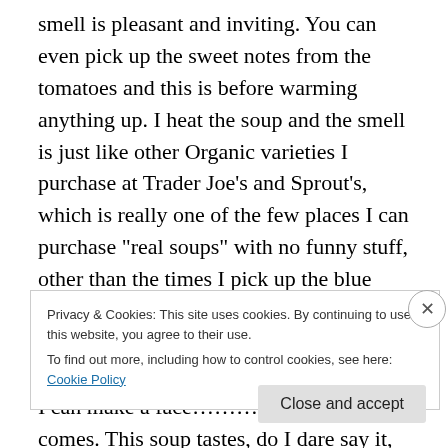smell is pleasant and inviting. You can even pick up the sweet notes from the tomatoes and this is before warming anything up. I heat the soup and the smell is just like other Organic varieties I purchase at Trader Joe’s and Sprout’s, which is really one of the few places I can purchase “real soups” with no funny stuff, other than the times I pick up the blue colored cans at Target on sale. I taste the Organic Tomato soup and I am waiting for that off taste, the saltiness to hit me so I can make a face……….but it never comes. This soup tastes, do I dare say it, like a normal
Privacy & Cookies: This site uses cookies. By continuing to use this website, you agree to their use.
To find out more, including how to control cookies, see here: Cookie Policy